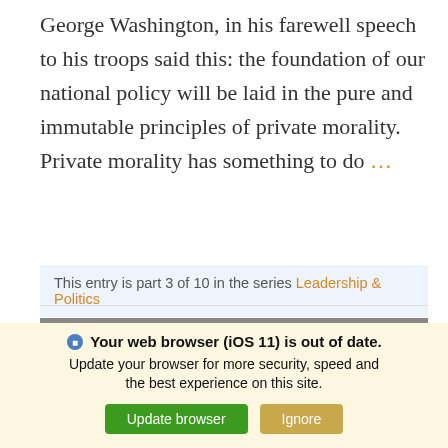George Washington, in his farewell speech to his troops said this: the foundation of our national policy will be laid in the pure and immutable principles of private morality. Private morality has something to do …
This entry is part 3 of 10 in the series Leadership & Politics
[Figure (photo): Black and white photograph of a person from behind with blurred urban buildings in the background]
Your web browser (iOS 11) is out of date. Update your browser for more security, speed and the best experience on this site.